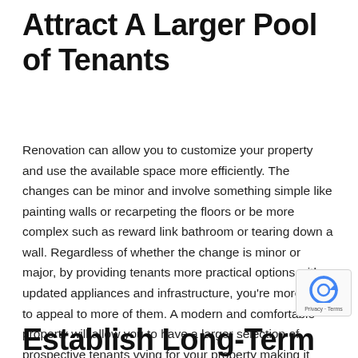Attract A Larger Pool of Tenants
Renovation can allow you to customize your property and use the available space more efficiently. The changes can be minor and involve something simple like painting walls or recarpeting the floors or be more complex such as reward link bathroom or tearing down a wall. Regardless of whether the change is minor or major, by providing tenants more practical options with updated appliances and infrastructure, you're more likely to appeal to more of them. A modern and comfortable property will allow you to have a larger selection of prospective tenants vying for your property making it easier to select the ideal tenant.
Establish Long-Term